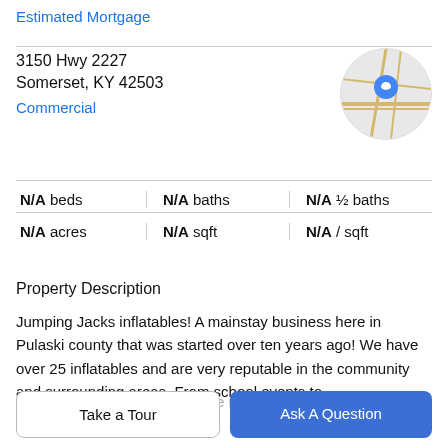Estimated Mortgage
3150 Hwy 2227
Somerset, KY 42503
Commercial
[Figure (map): Circular map thumbnail showing street map with a blue location pin marker]
| N/A beds | N/A baths | N/A ½ baths |
| N/A acres | N/A sqft | N/A / sqft |
Property Description
Jumping Jacks inflatables! A mainstay business here in Pulaski county that was started over ten years ago! We have over 25 inflatables and are very reputable in the community and surrounding areas. From school events to
Friday night block parties at the mall during cruise
Take a Tour
Ask A Question